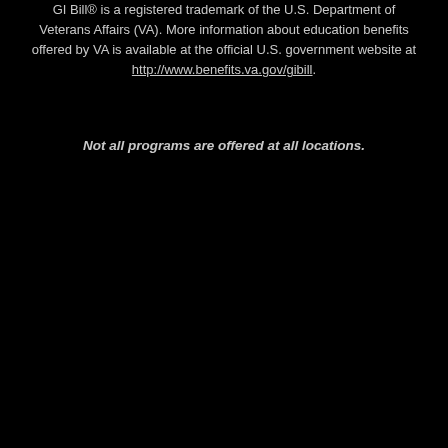GI Bill® is a registered trademark of the U.S. Department of Veterans Affairs (VA). More information about education benefits offered by VA is available at the official U.S. government website at http://www.benefits.va.gov/gibill.
Not all programs are offered at all locations.